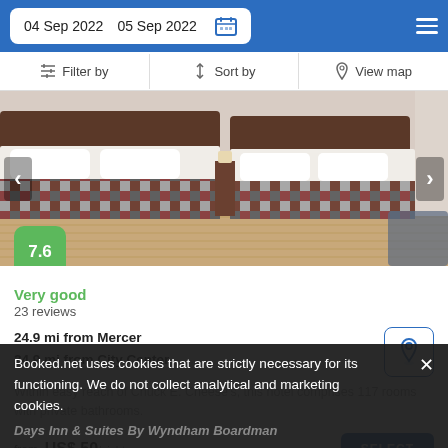04 Sep 2022   05 Sep 2022
[Figure (screenshot): Hotel room photo showing two beds with patterned bedspreads on a wooden floor]
Very good
23 reviews
24.9 mi from Mercer
24.9 mi from City Center
Within easy reach of Chuck E. Cheese's, this hotel comprises 117 rooms with private bathrooms.
from  US$ 50/night
Booked.net uses cookies that are strictly necessary for its functioning. We do not collect analytical and marketing cookies.
Days Inn & Suites By Wyndham Boardman